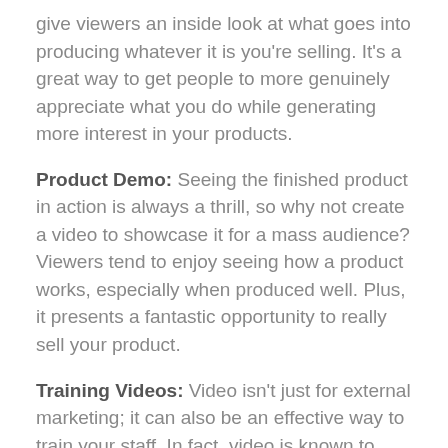give viewers an inside look at what goes into producing whatever it is you're selling. It's a great way to get people to more genuinely appreciate what you do while generating more interest in your products.
Product Demo: Seeing the finished product in action is always a thrill, so why not create a video to showcase it for a mass audience? Viewers tend to enjoy seeing how a product works, especially when produced well. Plus, it presents a fantastic opportunity to really sell your product.
Training Videos: Video isn't just for external marketing; it can also be an effective way to train your staff. In fact, video is known to boost retention, making it a great teaching tool for new employees.
Educational Content: Creating quality products isn't enough to make your manufacturing business as competitive as it can be. The best way to make your brand stand out is to establish yourself as an